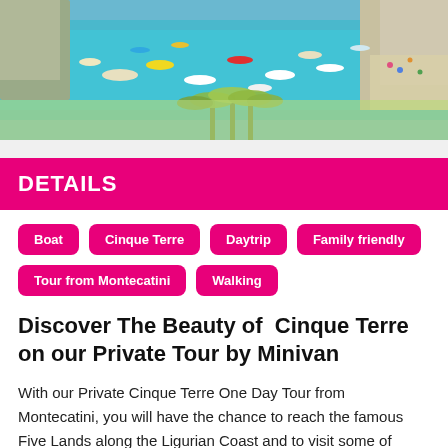[Figure (photo): Aerial view of a harbor with colorful boats on turquoise water near the Cinque Terre / Ligurian coast, with palm trees visible in the foreground]
DETAILS
Boat
Cinque Terre
Daytrip
Family friendly
Tour from Montecatini
Walking
Discover The Beauty of  Cinque Terre on our Private Tour by Minivan
With our Private Cinque Terre One Day Tour from Montecatini, you will have the chance to reach the famous Five Lands along the Ligurian Coast and to visit some of these charming villages. Once inside the park, we will travel by ferryboat preferably (weather permitting). You will love the colorful houses on the